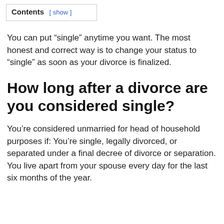Contents [ show ]
You can put “single” anytime you want. The most honest and correct way is to change your status to “single” as soon as your divorce is finalized.
How long after a divorce are you considered single?
You’re considered unmarried for head of household purposes if: You’re single, legally divorced, or separated under a final decree of divorce or separation. You live apart from your spouse every day for the last six months of the year.